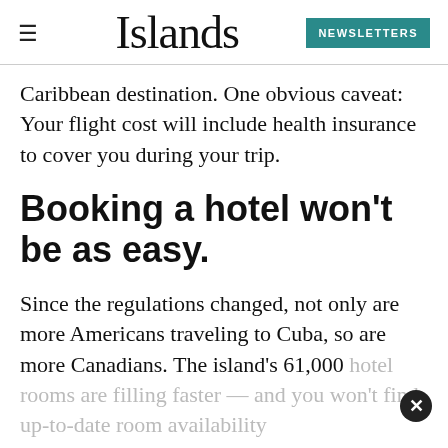Islands — NEWSLETTERS
Caribbean destination. One obvious caveat: Your flight cost will include health insurance to cover you during your trip.
Booking a hotel won't be as easy.
Since the regulations changed, not only are more Americans traveling to Cuba, so are more Canadians. The island's 61,000 hotel rooms are filling faster — and you won't find up-to-date room availability